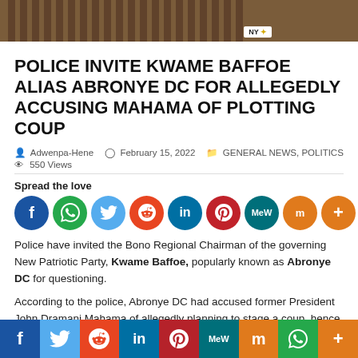[Figure (photo): Top portion of a news article page showing a brown/wood texture image at the top with a logo badge partially visible]
POLICE INVITE KWAME BAFFOE ALIAS ABRONYE DC FOR ALLEGEDLY ACCUSING MAHAMA OF PLOTTING COUP
Adwenpa-Hene  February 15, 2022  GENERAL NEWS, POLITICS  550 Views
Spread the love
[Figure (infographic): Row of social media sharing icons: Facebook, WhatsApp, Twitter, Reddit, LinkedIn, Pinterest, MeWe, Mix, More]
Police have invited the Bono Regional Chairman of the governing New Patriotic Party, Kwame Baffoe, popularly known as Abronye DC for questioning.
According to the police, Abronye DC had accused former President John Dramani Mahama of allegedly planning to stage a coup, hence the invite.
[Figure (infographic): Footer bar with social media icons: Facebook, Twitter, Reddit, LinkedIn, Pinterest, MeWe, Mix, WhatsApp, More]